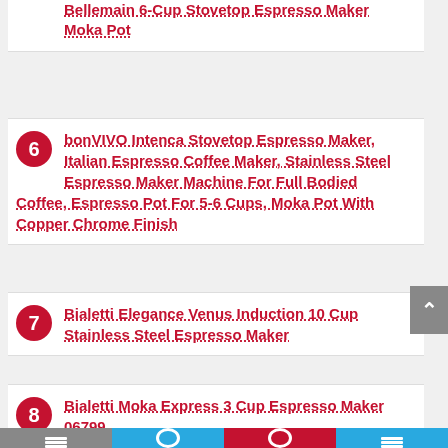5 Bellemain 6-Cup Stovetop Espresso Maker Moka Pot
6 bonVIVO Intenca Stovetop Espresso Maker, Italian Espresso Coffee Maker, Stainless Steel Espresso Maker Machine For Full Bodied Coffee, Espresso Pot For 5-6 Cups, Moka Pot With Copper Chrome Finish
7 Bialetti Elegance Venus Induction 10 Cup Stainless Steel Espresso Maker
8 Bialetti Moka Express 3 Cup Espresso Maker 06799